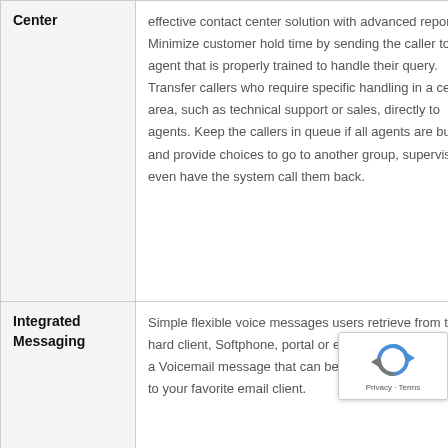| Feature | Description |
| --- | --- |
| Center | effective contact center solution with advanced reporting. Minimize customer hold time by sending the caller to the agent that is properly trained to handle their query. Transfer callers who require specific handling in a certain area, such as technical support or sales, directly to agents. Keep the callers in queue if all agents are busy and provide choices to go to another group, supervisor or even have the system call them back. |
| Integrated Messaging | Simple flexible voice messages users retrieve from their hard client, Softphone, portal or even via email. Leave you a Voicemail message that can be sent to you as a .wav file to your favorite email client. |
| Call Detail | Complete set of call records that are easy to... |